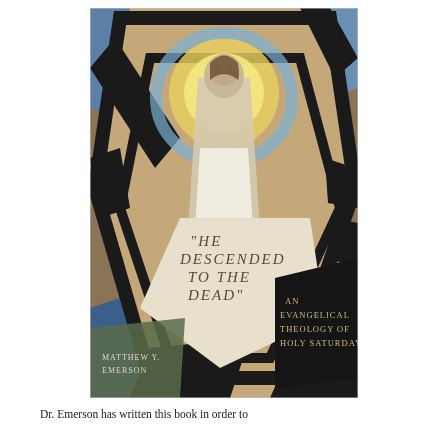[Figure (illustration): Book cover of 'He Descended to the Dead: An Evangelical Theology of Holy Saturday' by Matthew Y. Emerson. The cover features an artistic painting with geometric shapes and a figure of Christ rising, with a glowing halo, painted in muted blues, golds, and browns with black geometric frames. Title text overlaid on a pale cream pentagon shape reads "HE DESCENDED TO THE DEAD" and on a dark black shape reads "AN EVANGELICAL THEOLOGY OF HOLY SATURDAY". Author name MATTHEW Y. EMERSON appears at lower left.]
Dr. Emerson has written this book in order to